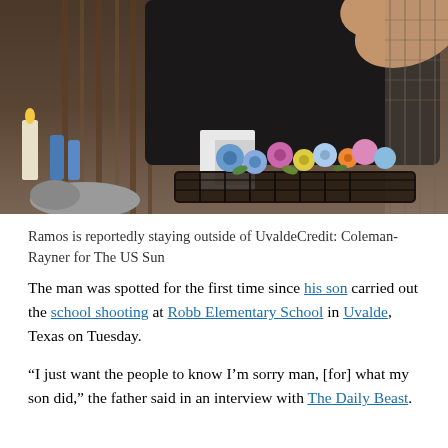[Figure (photo): A partially visible person in a dark shirt reaching toward a flower basket with colorful artificial flowers at a memorial. Vertical striped curtains or fence in background. A candle and blue bottles visible on the left side.]
Ramos is reportedly staying outside of UvaldeCredit: Coleman-Rayner for The US Sun
The man was spotted for the first time since his son carried out the school shooting at Robb Elementary School in Uvalde, Texas on Tuesday.
“I just want the people to know I’m sorry man, [for] what my son did,” the father said in an interview with The Daily Beast.